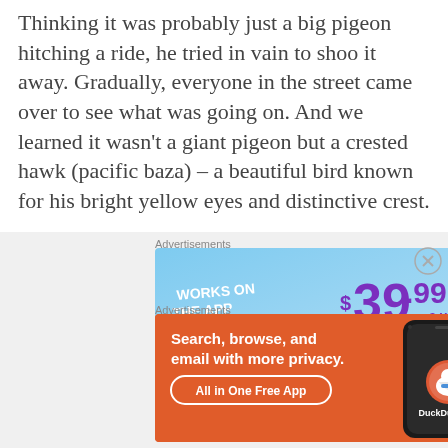Thinking it was probably just a big pigeon hitching a ride, he tried in vain to shoo it away. Gradually, everyone in the street came over to see what was going on. And we learned it wasn't a giant pigeon but a crested hawk (pacific baza) – a beautiful bird known for his bright yellow eyes and distinctive crest.
Advertisements
[Figure (infographic): Advertisement banner: 'WORKS ON THE APP TOO!' on the left, '$39.99 a year or $4.99 a month + FREE SHIPPING' on the right, blue gradient background.]
Advertisements
[Figure (infographic): DuckDuckGo advertisement: 'Search, browse, and email with more privacy. All in One Free App' with phone graphic and DuckDuckGo logo, orange background.]